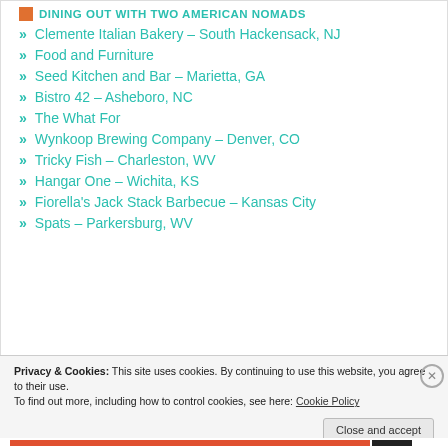DINING OUT WITH TWO AMERICAN NOMADS
Clemente Italian Bakery – South Hackensack, NJ
Food and Furniture
Seed Kitchen and Bar – Marietta, GA
Bistro 42 – Asheboro, NC
The What For
Wynkoop Brewing Company – Denver, CO
Tricky Fish – Charleston, WV
Hangar One – Wichita, KS
Fiorella's Jack Stack Barbecue – Kansas City
Spats – Parkersburg, WV
Privacy & Cookies: This site uses cookies. By continuing to use this website, you agree to their use. To find out more, including how to control cookies, see here: Cookie Policy
Close and accept